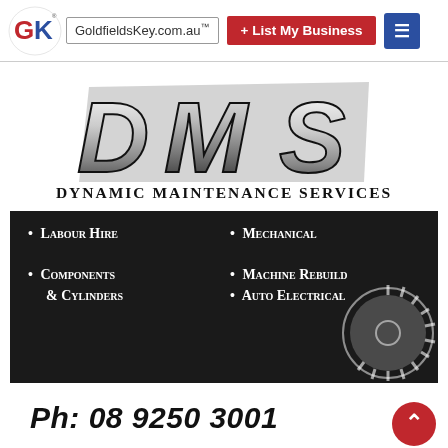GoldfieldsKey.com.au  + List My Business
[Figure (logo): DMS Dynamic Maintenance Services logo with stylized bold DMS letters in chrome/metallic style]
Dynamic Maintenance Services
• Labour Hire
• Mechanical
• Components & Cylinders
• Machine Rebuild
• Auto Electrical
Ph: 08 9250 3001